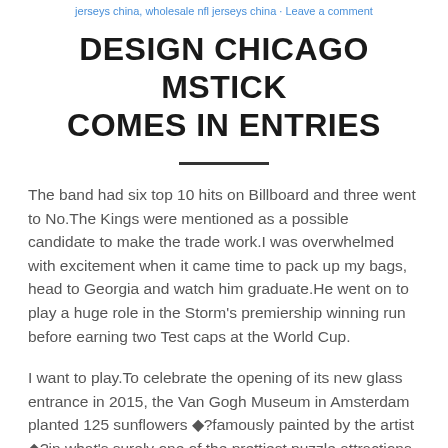jerseys china, wholesale nfl jerseys china · Leave a comment
DESIGN CHICAGO MSTICK COMES IN ENTRIES
The band had six top 10 hits on Billboard and three went to No.The Kings were mentioned as a possible candidate to make the trade work.I was overwhelmed with excitement when it came time to pack up my bags, head to Georgia and watch him graduate.He went on to play a huge role in the Storm's premiership winning run before earning two Test caps at the World Cup.
I want to play.To celebrate the opening of its new glass entrance in 2015, the Van Gogh Museum in Amsterdam planted 125 sunflowers ◆?famously painted by the artist ◆?in what's surely one of the prettiest puzzle attractions ever.At the end of the fourth quarter of 2018, Fidelity